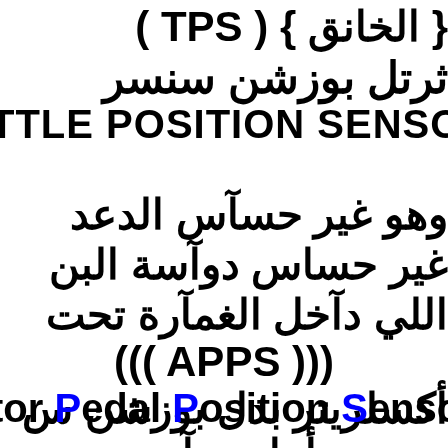{ الخانق } ( TPS )
ثرتل بوزشن سنسر
TTLE POSITION SENSOR
وهو غير حسآس الدعد
غير حساس دوآسة البن
اللي دآخل الغمآرة تحت
((( APPS )))
أكسلريتر بدل بوزشن س
tor Pedal Position Sensor
أما حسآس